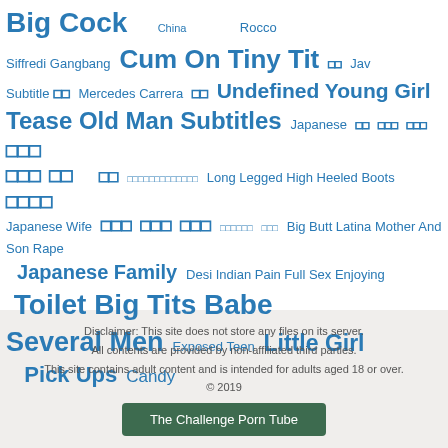[Figure (infographic): Tag cloud with various terms in different font sizes and outlines, all in blue color on white background]
Disclaimer: This site does not store any files on its server. All contents are provided by non-affiliated third parties. This site contains adult content and is intended for adults aged 18 or over. © 2019
The Challenge Porn Tube